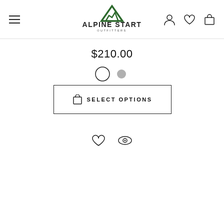[Figure (logo): Alpine Start Outfitters logo with green mountain triangle and text]
$210.00
[Figure (other): Two color swatch circles: one larger outlined circle (white/light) and one smaller grey circle]
[Figure (other): SELECT OPTIONS button with shopping bag icon]
[Figure (other): Heart (wishlist) icon and eye (quickview) icon]